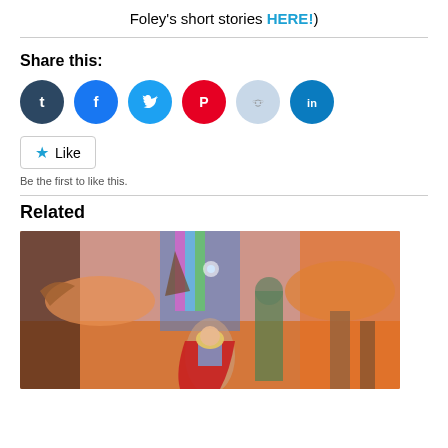Foley's short stories HERE!)
Share this:
[Figure (infographic): Social sharing icons: Tumblr (dark blue), Facebook (blue), Twitter (cyan), Pinterest (red), Reddit (light blue), LinkedIn (teal)]
Like
Be the first to like this.
Related
[Figure (photo): Movie poster showing a female superhero (Thor/Jane Foster) in armor with red cape, holding a hammer, surrounded by colorful fantasy landscape with other characters in background.]